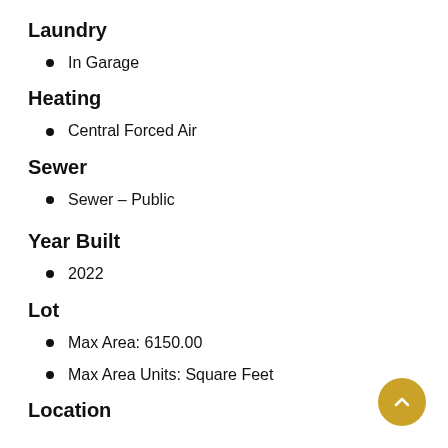Laundry
In Garage
Heating
Central Forced Air
Sewer
Sewer – Public
Year Built
2022
Lot
Max Area: 6150.00
Max Area Units: Square Feet
Location